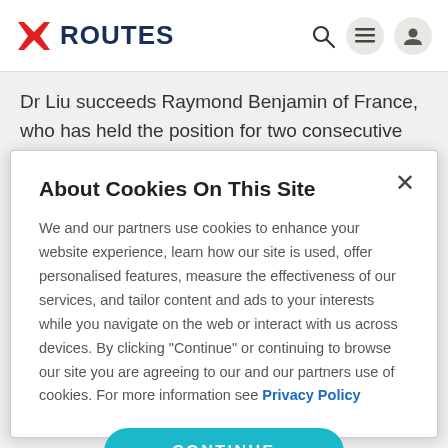[Figure (logo): Routes logo with red arrow/envelope icon and dark blue ROUTES text]
Dr Liu succeeds Raymond Benjamin of France, who has held the position for two consecutive terms since 2009. She
About Cookies On This Site
We and our partners use cookies to enhance your website experience, learn how our site is used, offer personalised features, measure the effectiveness of our services, and tailor content and ads to your interests while you navigate on the web or interact with us across devices. By clicking "Continue" or continuing to browse our site you are agreeing to our and our partners use of cookies. For more information see Privacy Policy